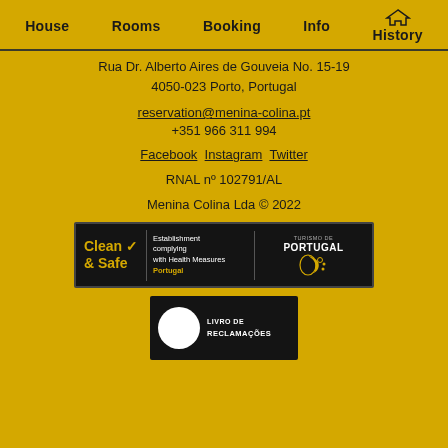House   Rooms   Booking   Info   History
Rua Dr. Alberto Aires de Gouveia No. 15-19
4050-023 Porto, Portugal
reservation@menina-colina.pt
+351 966 311 994
Facebook  Instagram  Twitter
RNAL nº 102791/AL
Menina Colina Lda © 2022
[Figure (logo): Clean & Safe certification badge with Turismo de Portugal logo. Dark background with gold 'Clean & Safe' text, checkmark, 'Establishment complying with Health Measures Portugal' text, and Turismo de Portugal logo.]
[Figure (logo): Livro de Reclamações badge. Dark background with white circle and text 'LIVRO DE RECLAMAÇÕES'.]